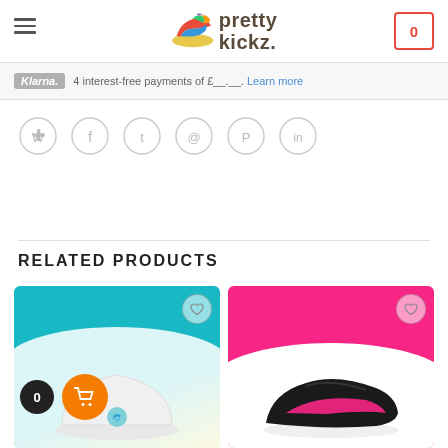[Figure (logo): Pretty Kickz logo with colorful shoe graphic and stylized text]
Klarna. 4 interest-free payments of £__.__. Learn more
[Figure (infographic): Social share icons: WhatsApp, Facebook, Twitter, Email, Pinterest, LinkedIn]
RELATED PRODUCTS
[Figure (photo): Product card 1: white cap with logo on teal/yellow background with wishlist heart icon]
[Figure (photo): Product card 2: black and pink Asics running shoes on pink/white background with wishlist heart icon]